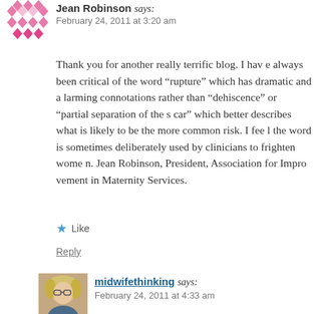[Figure (illustration): Pink diamond/chevron avatar icon for Jean Robinson]
Jean Robinson says:
February 24, 2011 at 3:20 am
Thank you for another really terrific blog. I have always been critical of the word “rupture” which has dramatic and alarming connotations rather than “dehiscence” or “partial separation of the scar” which better describes what is likely to be the more common risk. I feel the word is sometimes deliberately used by clinicians to frighten women. Jean Robinson, President, Association for Improvement in Maternity Services.
★ Like
Reply
[Figure (photo): Photo avatar of midwifethinking - woman with blonde hair]
midwifethinking says:
February 24, 2011 at 4:33 am
I agree Jean
I struggled with whether to use the word VBAC so often. But I decided...